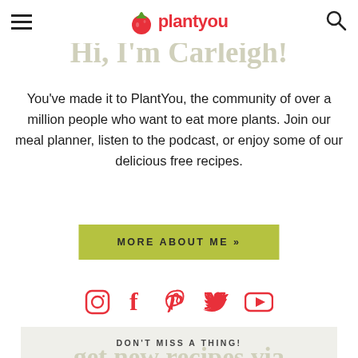plantyou (logo with navigation)
Hi, I'm Carleigh!
You've made it to PlantYou, the community of over a million people who want to eat more plants. Join our meal planner, listen to the podcast, or enjoy some of our delicious free recipes.
MORE ABOUT ME »
[Figure (other): Social media icons row: Instagram, Facebook, Pinterest, Twitter, YouTube — all in red]
DON'T MISS A THING!
get new recipes via email: